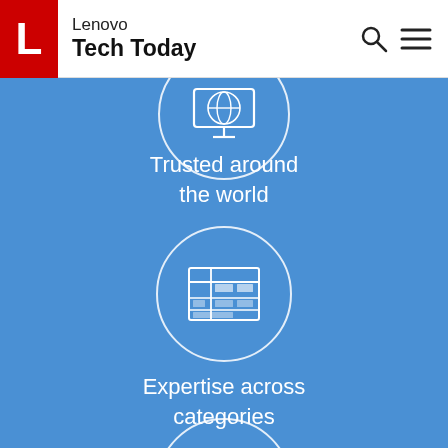Lenovo Tech Today
[Figure (infographic): Blue background infographic with three icon-and-label sections. Top section (partially cropped): circle icon with monitor/globe, labeled 'Trusted around the world'. Middle section: circle icon with a grid/table layout, labeled 'Expertise across categories'. Bottom section (partially cropped): circle icon with thumbs up, label not visible.]
Trusted around the world
Expertise across categories